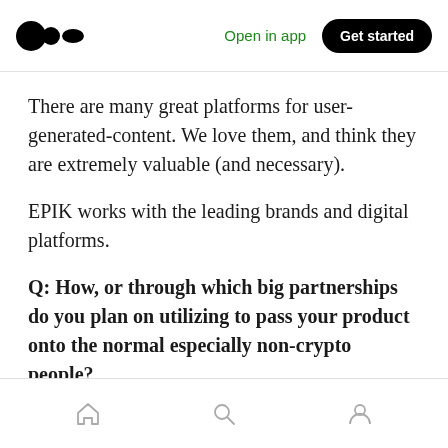Open in app | Get started
There are many great platforms for user-generated-content. We love them, and think they are extremely valuable (and necessary).
EPIK works with the leading brands and digital platforms.
Q: How, or through which big partnerships do you plan on utilizing to pass your product onto the normal especially non-crypto people?
Home | Search | Profile